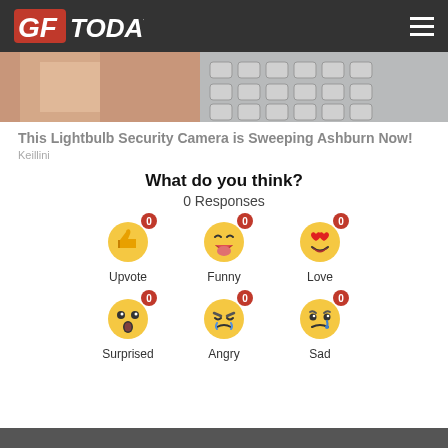GFToday
[Figure (photo): Partial image of a hand holding something near a keyboard/electronic components]
This Lightbulb Security Camera is Sweeping Ashburn Now!
Keillini
What do you think?
0 Responses
[Figure (infographic): Six emoji reaction buttons each showing 0 count: Upvote (thumbs up), Funny (laughing face), Love (heart eyes), Surprised (surprised face), Angry (crying angry face), Sad (sad face with tear)]